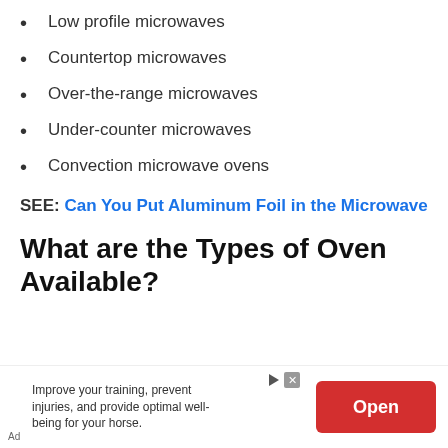Low profile microwaves
Countertop microwaves
Over-the-range microwaves
Under-counter microwaves
Convection microwave ovens
SEE: Can You Put Aluminum Foil in the Microwave
What are the Types of Oven Available?
Ad Improve your training, prevent injuries, and provide optimal well-being for your horse. Open